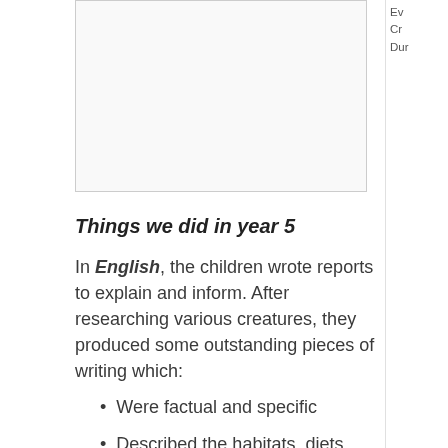[Figure (other): Empty box/image placeholder area in the upper left portion of the page]
Ev
Cr
Dur
Things we did in year 5
In English, the children wrote reports to explain and inform. After researching various creatures, they produced some outstanding pieces of writing which:
Were factual and specific
Described the habitats, diets and general features of these animals
Highlighted common misconceptions